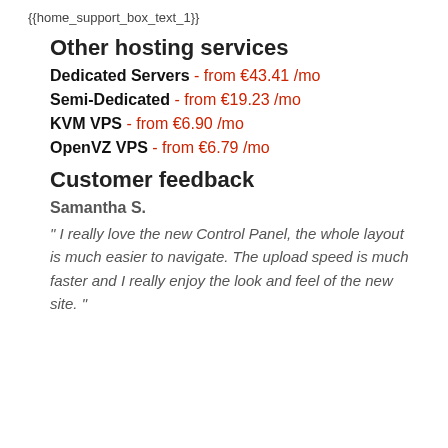{{home_support_box_text_1}}
Other hosting services
Dedicated Servers - from €43.41 /mo
Semi-Dedicated - from €19.23 /mo
KVM VPS - from €6.90 /mo
OpenVZ VPS - from €6.79 /mo
Customer feedback
Samantha S.
" I really love the new Control Panel, the whole layout is much easier to navigate. The upload speed is much faster and I really enjoy the look and feel of the new site. "